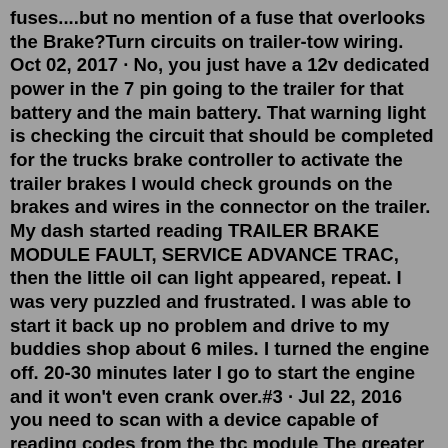fuses....but no mention of a fuse that overlooks the Brake?Turn circuits on trailer-tow wiring. Oct 02, 2017 · No, you just have a 12v dedicated power in the 7 pin going to the trailer for that battery and the main battery. That warning light is checking the circuit that should be completed for the trucks brake controller to activate the trailer brakes I would check grounds on the brakes and wires in the connector on the trailer. My dash started reading TRAILER BRAKE MODULE FAULT, SERVICE ADVANCE TRAC, then the little oil can light appeared, repeat. I was very puzzled and frustrated. I was able to start it back up no problem and drive to my buddies shop about 6 miles. I turned the engine off. 20-30 minutes later I go to start the engine and it won't even crank over.#3 · Jul 22, 2016 you need to scan with a device capable of reading codes from the tbc module The greater danger for most of us lies not in setting our aim too high and falling short; but in setting our aim too low, and achieving our mark. -Michelangelo D DalecSuperStore Registered, Joined Jun 9, 2016 1